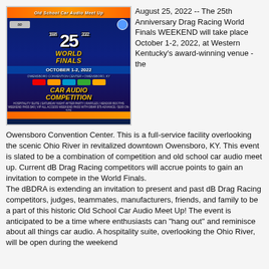[Figure (photo): Event poster for the 25th Anniversary World Finals Old School Car Audio Meet Up, October 1-2, 2022, Owensboro Convention Center, Owensboro, KY. Features Car Audio Competition branding with sponsor logos.]
August 25, 2022 -- The 25th Anniversary Drag Racing World Finals WEEKEND will take place October 1-2, 2022, at Western Kentucky's award-winning venue - the Owensboro Convention Center. This is a full-service facility overlooking the scenic Ohio River in revitalized downtown Owensboro, KY. This event is slated to be a combination of competition and old school car audio meet up. Current dB Drag Racing competitors will accrue points to gain an invitation to compete in the World Finals.
The dBDRA is extending an invitation to present and past dB Drag Racing competitors, judges, teammates, manufacturers, friends, and family to be a part of this historic Old School Car Audio Meet Up! The event is anticipated to be a time where enthusiasts can "hang out" and reminisce about all things car audio. A hospitality suite, overlooking the Ohio River, will be open during the weekend